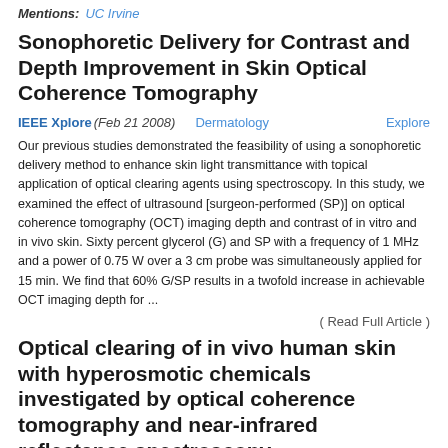Mentions: UC Irvine
Sonophoretic Delivery for Contrast and Depth Improvement in Skin Optical Coherence Tomography
IEEE Xplore (Feb 21 2008)  Dermatology  Explore
Our previous studies demonstrated the feasibility of using a sonophoretic delivery method to enhance skin light transmittance with topical application of optical clearing agents using spectroscopy. In this study, we examined the effect of ultrasound [surgeon-performed (SP)] on optical coherence tomography (OCT) imaging depth and contrast of in vitro and in vivo skin. Sixty percent glycerol (G) and SP with a frequency of 1 MHz and a power of 0.75 W over a 3 cm probe was simultaneously applied for 15 min. We find that 60% G/SP results in a twofold increase in achievable OCT imaging depth for ...
( Read Full Article )
Optical clearing of in vivo human skin with hyperosmotic chemicals investigated by optical coherence tomography and near-infrared reflectance spectroscopy
SPIE Digital Library (Jun 1 2004)  Dermatology  Explore
Although application of clearing agents to skin and other